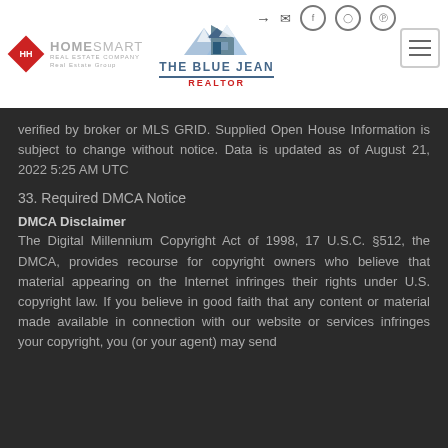[Figure (logo): HomeSmart Realty Group logo with red diamond and gray text, and The Blue Jean Realtor logo with house graphic]
verified by broker or MLS GRID. Supplied Open House Information is subject to change without notice. Data is updated as of August 21, 2022 5:25 AM UTC
33. Required DMCA Notice
DMCA Disclaimer
The Digital Millennium Copyright Act of 1998, 17 U.S.C. §512, the DMCA, provides recourse for copyright owners who believe that material appearing on the Internet infringes their rights under U.S. copyright law. If you believe in good faith that any content or material made available in connection with our website or services infringes your copyright, you (or your agent) may send